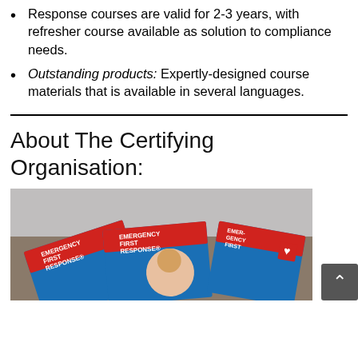Response courses are valid for 2-3 years, with refresher course available as solution to compliance needs.
Outstanding products: Expertly-designed course materials that is available in several languages.
About The Certifying Organisation:
[Figure (photo): Photo showing Emergency First Response course booklets/pamphlets fanned out, with images of people on covers, showing red and blue branding with 'EMERGENCY FIRST RESPONSE' text.]